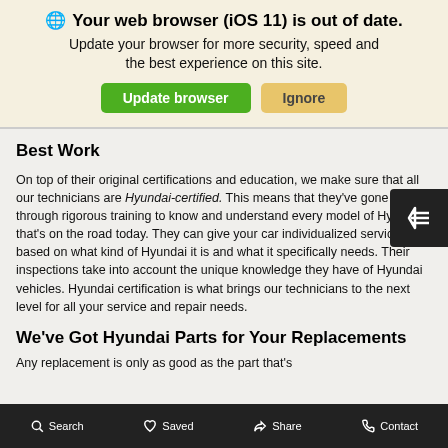[Figure (screenshot): Browser update warning banner with globe icon, bold title 'Your web browser (iOS 11) is out of date.', subtitle text, and two buttons: 'Update browser' (green) and 'Ignore' (tan/yellow)]
Best Work
On top of their original certifications and education, we make sure that all our technicians are Hyundai-certified. This means that they've gone through rigorous training to know and understand every model of Hyundai that's on the road today. They can give your car individualized service based on what kind of Hyundai it is and what it specifically needs. Their inspections take into account the unique knowledge they have of Hyundai vehicles. Hyundai certification is what brings our technicians to the next level for all your service and repair needs.
We've Got Hyundai Parts for Your Replacements
Any replacement is only as good as the part that's
Search   Saved   Share   Contact